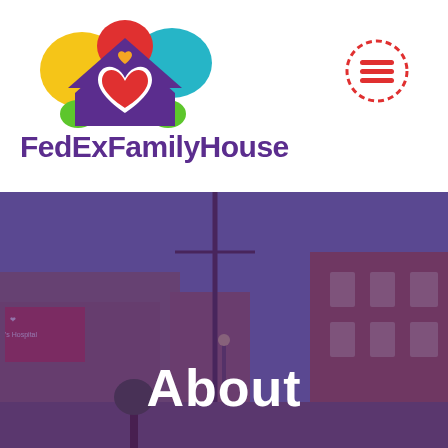[Figure (logo): FedEx Family House logo: colorful house icon with yellow, teal, red cloud shapes and green bushes, purple house with red heart and small orange heart]
FedExFamilyHouse
[Figure (illustration): Red dashed circle hamburger menu icon in top right corner]
[Figure (photo): Street scene photo showing brick buildings with purple/violet color overlay. A children's hospital sign is visible on the left. The image has a strong purple tint overlay.]
About